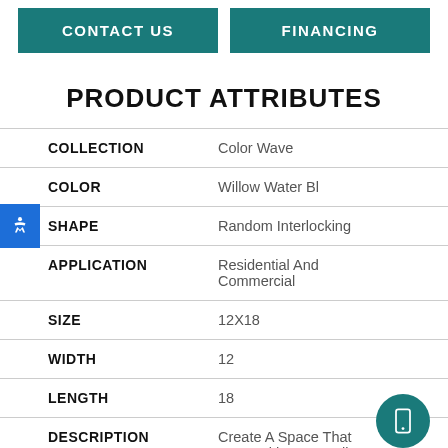CONTACT US   FINANCING
PRODUCT ATTRIBUTES
| Attribute | Value |
| --- | --- |
| COLLECTION | Color Wave |
| COLOR | Willow Water Bl |
| SHAPE | Random Interlocking |
| APPLICATION | Residential And Commercial |
| SIZE | 12X18 |
| WIDTH | 12 |
| LENGTH | 18 |
| DESCRIPTION | Create A Space That Pops With Personality |